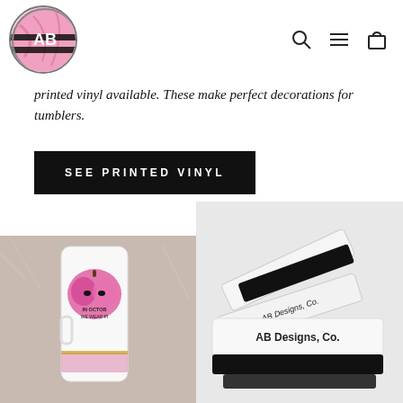[Figure (logo): AB Designs Co. circular logo with pink marble background and black stripe pattern]
[Figure (infographic): Navigation icons: search magnifying glass, hamburger menu, shopping bag]
printed vinyl available. These make perfect decorations for tumblers.
SEE PRINTED VINYL
[Figure (photo): White tumbler with pink pumpkin Halloween design reading IN OCTOBER WE WEAR PINK, on furry white background]
[Figure (photo): White squeegee tools branded with AB Designs, Co. text on white surface]